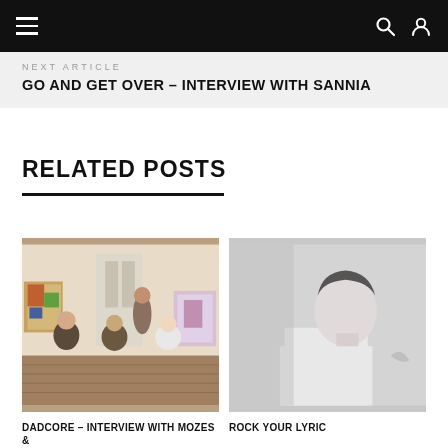Navigation bar with hamburger menu, search and user icons
NEXT ARTICLE
GO AND GET OVER – INTERVIEW WITH SANNIA
RELATED POSTS
[Figure (photo): Group photo of four people (a band) sitting and standing in a bright room with colorful paintings/art canvases around them on wooden floors]
[Figure (photo): Black and white portrait photo of a person, cropped, showing upper body against a light grey background]
DADCORE – INTERVIEW WITH MOZES &
ROCK YOUR LYRIC